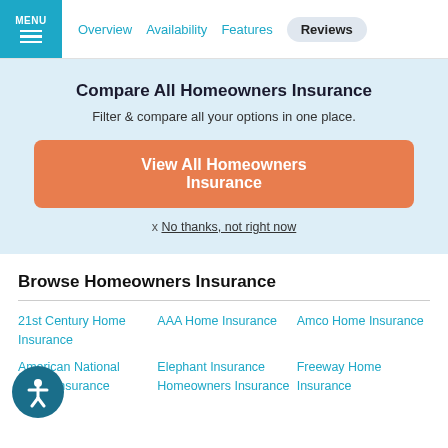MENU | Overview | Availability | Features | Reviews
Compare All Homeowners Insurance
Filter & compare all your options in one place.
View All Homeowners Insurance
x No thanks, not right now
Browse Homeowners Insurance
21st Century Home Insurance
AAA Home Insurance
Amco Home Insurance
American National Home Insurance
Elephant Insurance Homeowners Insurance
Freeway Home Insurance